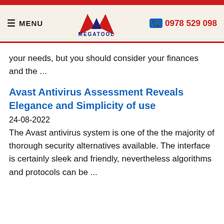[Figure (logo): Megatool logo with red and dark blue triangular M shape above the text MEGATOOL]
≡ MENU   MEGATOOL   📞 0978 529 098
your needs, but you should consider your finances and the ...
Avast Antivirus Assessment Reveals Elegance and Simplicity of use
24-08-2022
The Avast antivirus system is one of the the majority of thorough security alternatives available. The interface is certainly sleek and friendly, nevertheless algorithms and protocols can be ...